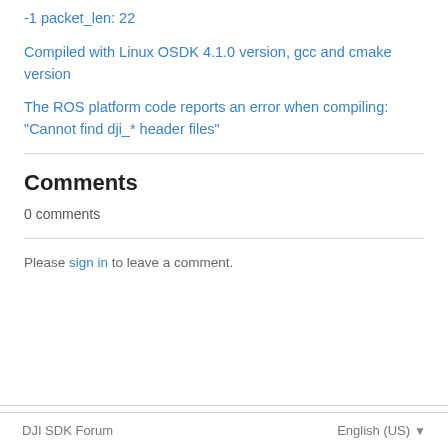-1 packet_len: 22
Compiled with Linux OSDK 4.1.0 version, gcc and cmake version
The ROS platform code reports an error when compiling: "Cannot find dji_* header files"
Comments
0 comments
Please sign in to leave a comment.
DJI SDK Forum    English (US) ▾